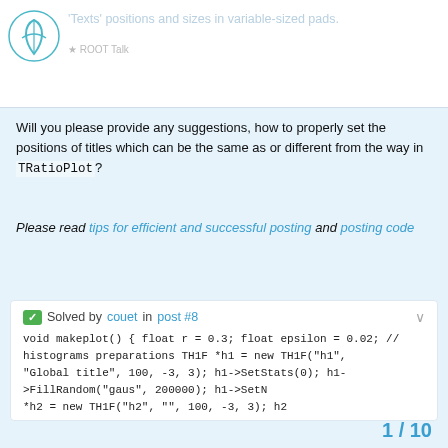Texts' positions and sizes in variable-sized pads
Will you please provide any suggestions, how to properly set the positions of titles which can be the same as or different from the way in TRatioPlot?
Please read tips for efficient and successful posting and posting code
ROOT Version: Not Provided
Platform: Not Provided
Compiler: Not Provided
Solved by couet in post #8
void makeplot() { float r = 0.3; float epsilon = 0.02; // histograms preparations TH1F *h1 = new TH1F("h1", "Global title", 100, -3, 3); h1->SetStats(0); h1->FillRandom("gaus", 200000); h1->SetN *h2 = new TH1F("h2", "", 100, -3, 3); h2
1 / 10